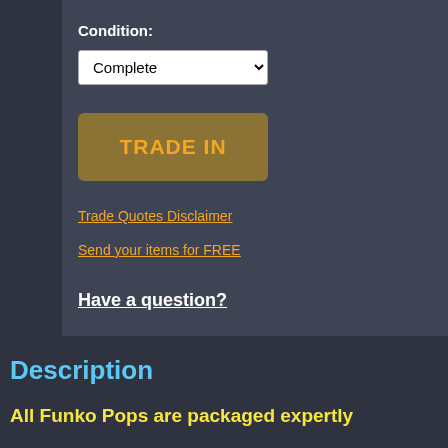Condition:
Complete
TRADE IN
Trade Quotes Disclaimer
Send your items for FREE
Have a question?
Description
All Funko Pops are packaged expertly